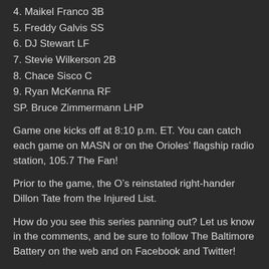4. Maikel Franco 3B
5. Freddy Galvis SS
6. DJ Stewart LF
7. Stevie Wilkerson 2B
8. Chace Sisco C
9. Ryan McKenna RF
SP. Bruce Zimmermann LHP
Game one kicks off at 8:10 p.m. ET. You can catch each game on MASN or on the Orioles’ flagship radio station, 105.7 The Fan!
Prior to the game, the O’s reinstated right-hander Dillon Tate from the Injured List.
How do you see this series panning out? Let us know in the comments, and be sure to follow The Baltimore Battery on the web and on Facebook and Twitter!